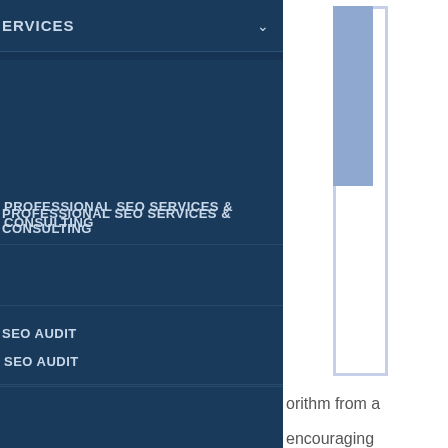SERVICES
PROFESSIONAL SEO SERVICES & CONSULTING
SEO AUDIT
PAY-PER-CLICK SERVICES
SITE OPTIMIZATION AND MIGRATION
ONLINE REPUTATION MANAGEMENT
orithm from a encouraging t, this is our news feed family – and less ck for many the social media itself as one of